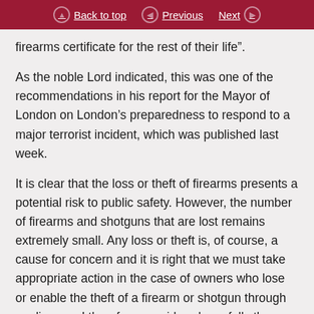Back to top  Previous  Next
firearms certificate for the rest of their life”.
As the noble Lord indicated, this was one of the recommendations in his report for the Mayor of London on London’s preparedness to respond to a major terrorist incident, which was published last week.
It is clear that the loss or theft of firearms presents a potential risk to public safety. However, the number of firearms and shotguns that are lost remains extremely small. Any loss or theft is, of course, a cause for concern and it is right that we must take appropriate action in the case of owners who lose or enable the theft of a firearm or shotgun through negligence. I therefore considered carefully the